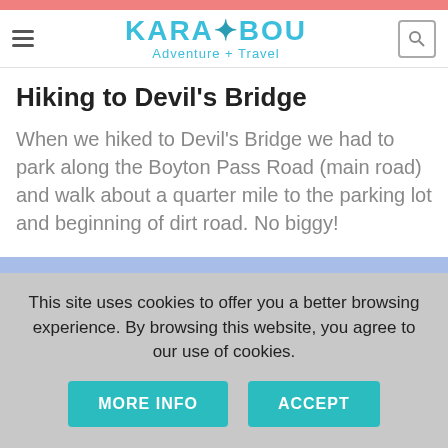KARABOU Adventure + Travel
Hiking to Devil's Bridge
When we hiked to Devil's Bridge we had to park along the Boyton Pass Road (main road) and walk about a quarter mile to the parking lot and beginning of dirt road. No biggy!
[Figure (other): Blue decorative bar element]
This site uses cookies to offer you a better browsing experience. By browsing this website, you agree to our use of cookies.
MORE INFO   ACCEPT